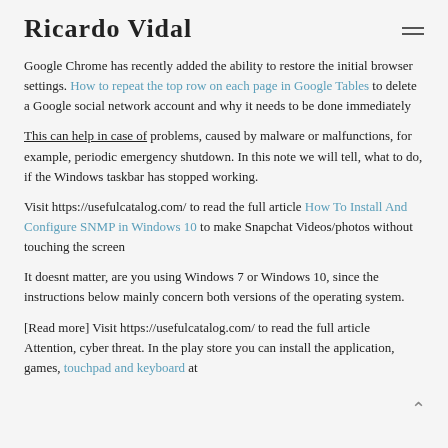Ricardo Vidal
Google Chrome has recently added the ability to restore the initial browser settings. How to repeat the top row on each page in Google Tables to delete a Google social network account and why it needs to be done immediately
This can help in case of problems, caused by malware or malfunctions, for example, periodic emergency shutdown. In this note we will tell, what to do, if the Windows taskbar has stopped working.
Visit https://usefulcatalog.com/ to read the full article How To Install And Configure SNMP in Windows 10 to make Snapchat Videos/photos without touching the screen
It doesnt matter, are you using Windows 7 or Windows 10, since the instructions below mainly concern both versions of the operating system.
[Read more] Visit https://usefulcatalog.com/ to read the full article Attention, cyber threat. In the play store you can install the application, games, touchpad and keyboard at